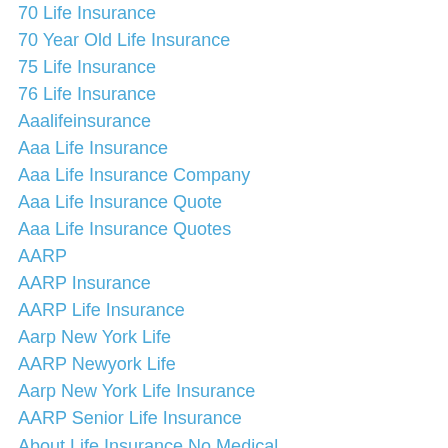70 Life Insurance
70 Year Old Life Insurance
75 Life Insurance
76 Life Insurance
Aaalifeinsurance
Aaa Life Insurance
Aaa Life Insurance Company
Aaa Life Insurance Quote
Aaa Life Insurance Quotes
AARP
AARP Insurance
AARP Life Insurance
Aarp New York Life
AARP Newyork Life
Aarp New York Life Insurance
AARP Senior Life Insurance
About Life Insurance No Medical
Accidental Death
Accidental Death And Dismemberment Insurance
Accidental Death And Dismemberment Life Insurance
Accidental Death And Life Insurance